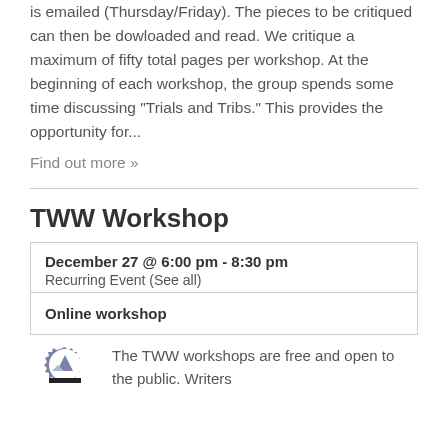is emailed (Thursday/Friday). The pieces to be critiqued can then be dowloaded and read. We critique a maximum of fifty total pages per workshop. At the beginning of each workshop, the group spends some time discussing "Trials and Tribs." This provides the opportunity for...
Find out more »
TWW Workshop
| December 27 @ 6:00 pm - 8:30 pm | Recurring Event (See all) |
| Online workshop |  |
[Figure (logo): TWW mountain logo, gear-shaped badge with mountain silhouette]
The TWW workshops are free and open to the public. Writers